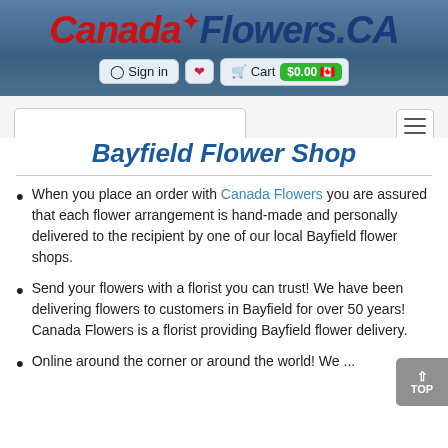CanadaFlowers.CA — Sign in | Cart $0.00
Bayfield Flower Shop
When you place an order with Canada Flowers you are assured that each flower arrangement is hand-made and personally delivered to the recipient by one of our local Bayfield flower shops.
Send your flowers with a florist you can trust! We have been delivering flowers to customers in Bayfield for over 50 years! Canada Flowers is a florist providing Bayfield flower delivery.
Online around the corner or around the world! We ...